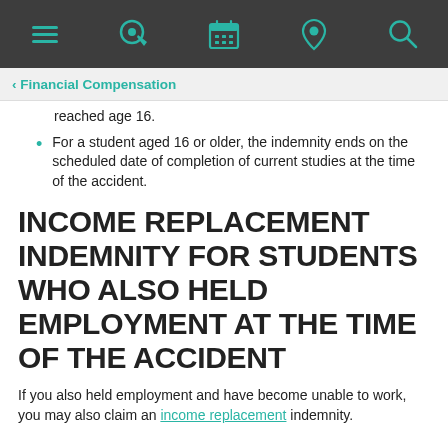[Navigation bar with menu, cursor, calendar, location, and search icons]
‹ Financial Compensation
reached age 16.
For a student aged 16 or older, the indemnity ends on the scheduled date of completion of current studies at the time of the accident.
INCOME REPLACEMENT INDEMNITY FOR STUDENTS WHO ALSO HELD EMPLOYMENT AT THE TIME OF THE ACCIDENT
If you also held employment and have become unable to work, you may also claim an income replacement indemnity.